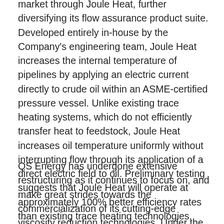market through Joule Heat, further diversifying its flow assurance product suite. Developed entirely in-house by the Company's engineering team, Joule Heat increases the internal temperature of pipelines by applying an electric current directly to crude oil within an ASME-certified pressure vessel. Unlike existing trace heating systems, which do not efficiently transfer heat to feedstock, Joule Heat increases oil temperature uniformly without interrupting flow through its application of a direct electric field to oil. Preliminary testing suggests that Joule Heat will operate at approximately 100% better efficiency rates than existing trace heating technologies.
QS Energy has undergone extensive restructuring as it continues to focus on, and make great strides towards the commercialization of its cutting-edge viscosity reduction technologies. Under the